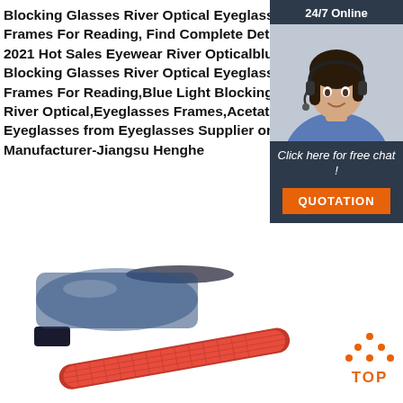Blocking Glasses River Optical Eyeglasses Frames For Reading, Find Complete Details about 2021 Hot Sales Eyewear River Opticalblue Light Blocking Glasses River Optical Eyeglasses Frames For Reading,Blue Light Blocking Glasses River Optical,Eyeglasses Frames,Acetate Eyeglasses from Eyeglasses Supplier or Manufacturer-Jiangsu Henghe
[Figure (other): Live chat widget with customer service representative photo, '24/7 Online' banner, 'Click here for free chat!' text, and QUOTATION button]
[Figure (other): Orange 'Get Price' button]
[Figure (photo): Close-up photo of eyeglasses/sunglasses with red textured temple arm on white background]
[Figure (other): Orange 'TOP' button with dots arranged in triangle above text]